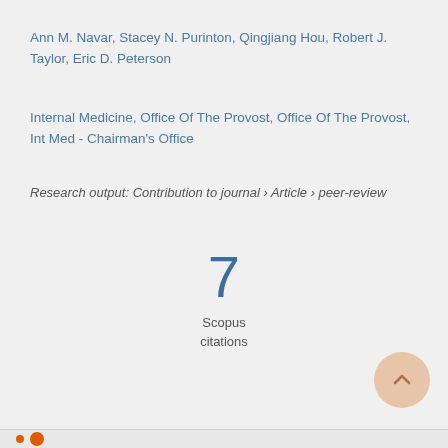Ann M. Navar, Stacey N. Purinton, Qingjiang Hou, Robert J. Taylor, Eric D. Peterson
Internal Medicine, Office Of The Provost, Office Of The Provost, Int Med - Chairman's Office
Research output: Contribution to journal › Article › peer-review
7
Scopus
citations